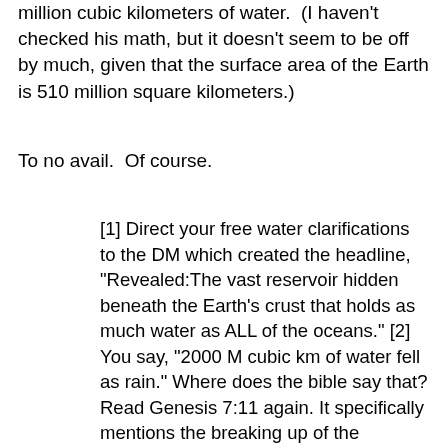million cubic kilometers of water. (I haven't checked his math, but it doesn't seem to be off by much, given that the surface area of the Earth is 510 million square kilometers.)
To no avail.  Of course.
[1] Direct your free water clarifications to the DM which created the headline, "Revealed:The vast reservoir hidden beneath the Earth's crust that holds as much water as ALL of the oceans." [2] You say, "2000 M cubic km of water fell as rain." Where does the bible say that? Read Genesis 7:11 again. It specifically mentions the breaking up of the fountains of the deep along with the windows of heaven being opened up. This implies that all the water did not come from rain. Besides providing the source for your claim, please show your calculations along with your assumptions. [3] You don't know and can't prove that these bible stories are myths anymore than you can definitively show what a photon is or what gravity is. Neither can you prove by testable predictions beyond how life originated, how